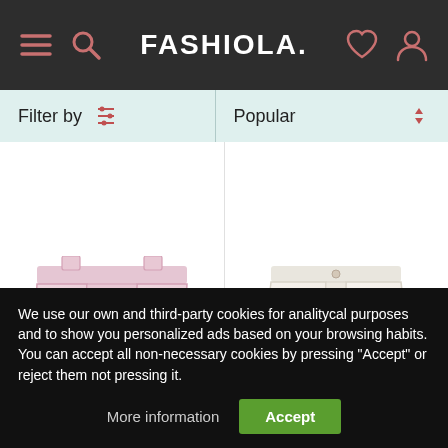FASHIOLA.
Filter by
Popular
[Figure (photo): Pink satin shorts with pockets, shown on white background]
Php10,266.82
[Figure (photo): Cream/white wide-leg shorts or skirt, shown on white background]
Php3,682.12
We use our own and third-party cookies for analitycal purposes and to show you personalized ads based on your browsing habits. You can accept all non-necessary cookies by pressing "Accept" or reject them not pressing it.
More information
Accept